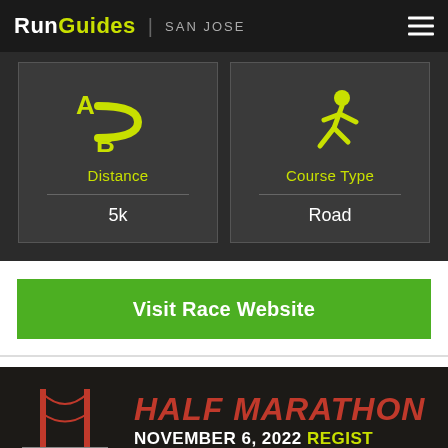RunGuides | SAN JOSE
[Figure (infographic): Two info cards on dark background. Left card: Route/distance icon (A to B path) in yellow, label 'Distance', value '5k'. Right card: Running person icon in yellow, label 'Course Type', value 'Road'.]
Visit Race Website
[Figure (infographic): Golden Gate Half Marathon advertisement banner. Shows Golden Gate Bridge logo on left and text 'HALF MARATHON NOVEMBER 6, 2022 REGIST...' on right with red and yellow text on dark background.]